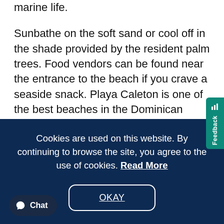marine life.
Sunbathe on the soft sand or cool off in the shade provided by the resident palm trees. Food vendors can be found near the entrance to the beach if you crave a seaside snack. Playa Caleton is one of the best beaches in the Dominican Republic, frequented by locals and visitors alike.
Cookies are used on this website. By continuing to browse the site, you agree to the use of cookies. Read More
OKAY
Chat